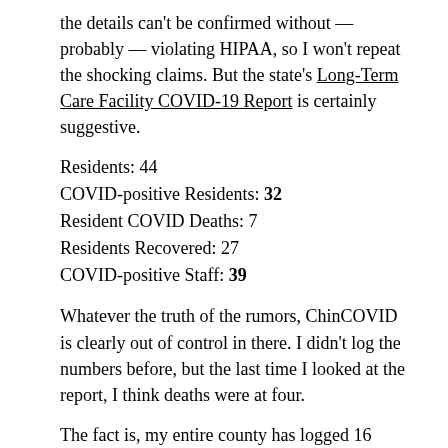the details can't be confirmed without — probably — violating HIPAA, so I won't repeat the shocking claims. But the state's Long-Term Care Facility COVID-19 Report is certainly suggestive.
Residents: 44
COVID-positive Residents: 32
Resident COVID Deaths: 7
Residents Recovered: 27
COVID-positive Staff: 39
Whatever the truth of the rumors, ChinCOVID is clearly out of control in there. I didn't log the numbers before, but the last time I looked at the report, I think deaths were at four.
The fact is, my entire county has logged 16 ChinCOVID deaths, and seven of them came out of one single 44-resident facility. I strongly suspect the